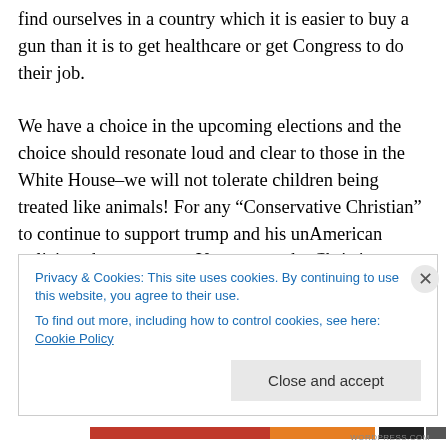find ourselves in a country which it is easier to buy a gun than it is to get healthcare or get Congress to do their job.

We have a choice in the upcoming elections and the choice should resonate loud and clear to those in the White House–we will not tolerate children being treated like animals! For any “Conservative Christian” to continue to support trump and his unAmerican policies, shame on you. You are not the Christians recognized in the bible. In fact, I doubt seriously if God would recognize any of you as being followers of Jesus Christ. How do I know? Your
Privacy & Cookies: This site uses cookies. By continuing to use this website, you agree to their use.
To find out more, including how to control cookies, see here: Cookie Policy
Close and accept